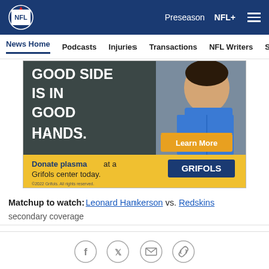[Figure (logo): NFL shield logo in white on dark blue header]
Preseason  NFL+  ≡
News Home  Podcasts  Injuries  Transactions  NFL Writers  Se
[Figure (photo): Grifols advertisement: smiling healthcare worker in blue scrubs with text 'GOOD SIDE IS IN GOOD HANDS.' and 'Donate plasma at a Grifols center today.' with a Learn More button and GRIFOLS logo. ©2022 Grifols. All rights reserved.]
Matchup to watch: Leonard Hankerson vs. Redskins secondary coverage
[Figure (other): Social sharing icons: Facebook, Twitter, Email, Link/chain]